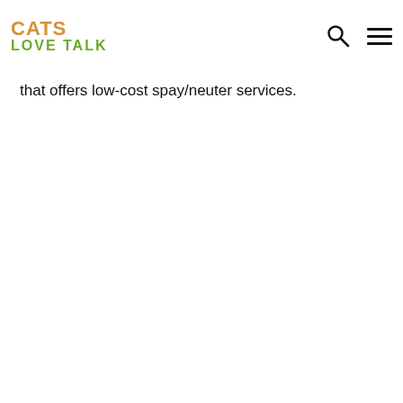CATS LOVE TALK
that offers low-cost spay/neuter services.